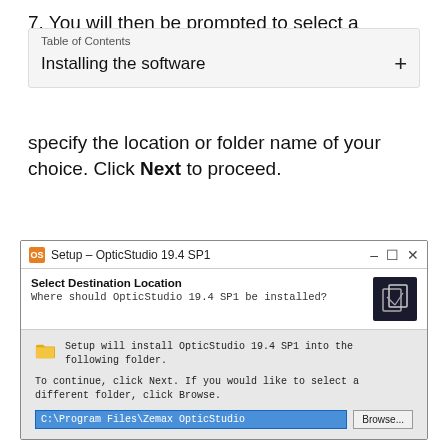7. You will then be prompted to select a location to install
Installing the software
specify the location or folder name of your choice. Click Next to proceed.
[Figure (screenshot): OpticStudio 19.4 SP1 Setup window showing Select Destination Location dialog with path C:\Program Files\Zemax OpticStudio and Browse button]